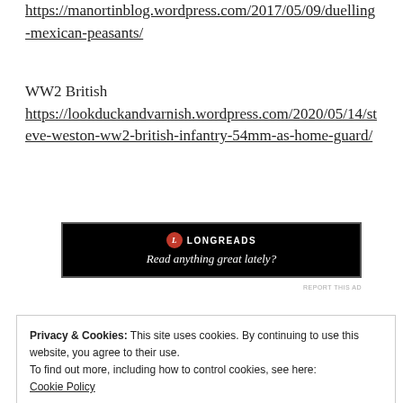https://manortinblog.wordpress.com/2017/05/09/duelling-mexican-peasants/
WW2 British https://lookduckandvarnish.wordpress.com/2020/05/14/steve-weston-ww2-british-infantry-54mm-as-home-guard/
[Figure (other): Longreads advertisement banner: black background with Longreads logo and text 'Read anything great lately?']
REPORT THIS AD
Privacy & Cookies: This site uses cookies. By continuing to use this website, you agree to their use.
To find out more, including how to control cookies, see here: Cookie Policy
Close and accept